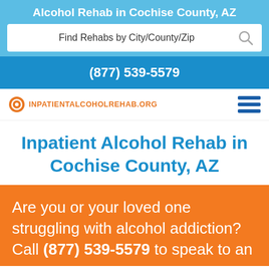Alcohol Rehab in Cochise County, AZ
Find Rehabs by City/County/Zip
(877) 539-5579
[Figure (logo): InpatientAlcoholRehab.org logo with orange circular icon and orange uppercase text]
Inpatient Alcohol Rehab in Cochise County, AZ
Are you or your loved one struggling with alcohol addiction? Call (877) 539-5579 to speak to an